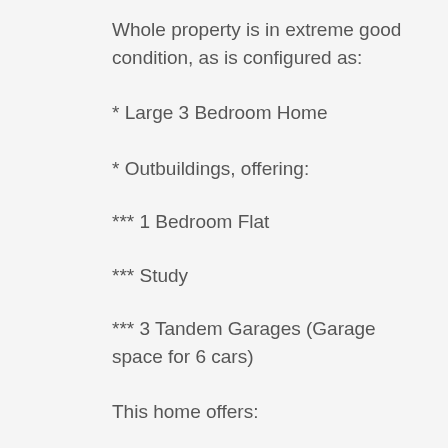Whole property is in extreme good condition, as is configured as:
* Large 3 Bedroom Home
* Outbuildings, offering:
*** 1 Bedroom Flat
*** Study
*** 3 Tandem Garages (Garage space for 6 cars)
This home offers:
* Large lounge with fireplace
* Dining room, semi-open plan with kitchen